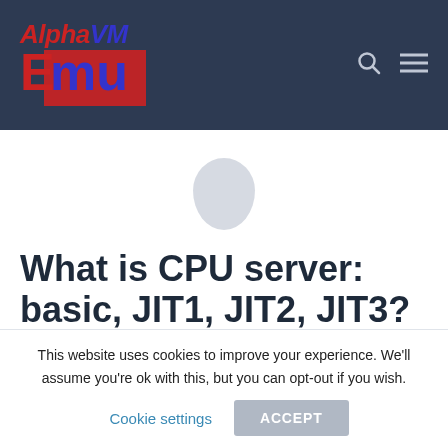[Figure (logo): AlphaVM Emu logo: stylized red italic 'Alpha' and blue 'VM' on top, large overlapping 'E' in red and 'mu' in blue below, on dark navy background]
What is CPU server: basic, JIT1, JIT2, JIT3?
This website uses cookies to improve your experience. We'll assume you're ok with this, but you can opt-out if you wish.
Cookie settings   ACCEPT